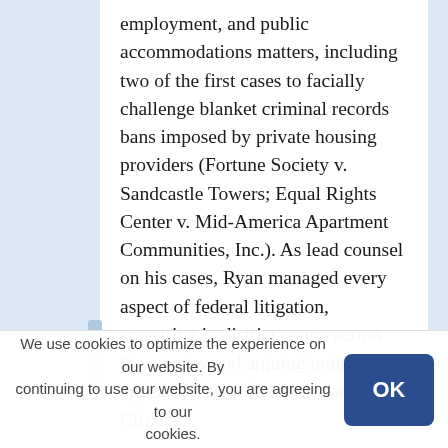employment, and public accommodations matters, including two of the first cases to facially challenge blanket criminal records bans imposed by private housing providers (Fortune Society v. Sandcastle Towers; Equal Rights Center v. Mid-America Apartment Communities, Inc.). As lead counsel on his cases, Ryan managed every aspect of federal litigation, appearing in district courts across the country and arguing multiple appeals in the Fifth, Sixth, and Tenth Circuits.

Prior to Relman, Ryan served as a Skadden Fellow and later as Assistant Counsel at LDF. There, he worked on the litigation team for Lewis v. City of Chicago, a class action filed on behalf of Chicago firefighters that resulted
We use cookies to optimize the experience on our website. By continuing to use our website, you are agreeing to our use of cookies.